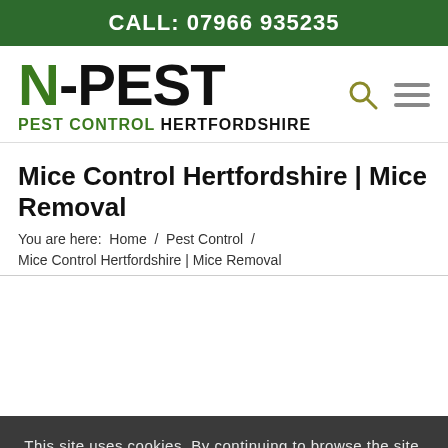CALL: 07966 935235
[Figure (logo): N-PEST Pest Control Hertfordshire logo with search and menu icons]
Mice Control Hertfordshire | Mice Removal
You are here:  Home  /  Pest Control  /  Mice Control Hertfordshire | Mice Removal
This site uses cookies. By continuing to browse the site, you are agreeing to our use of cookies.
OK